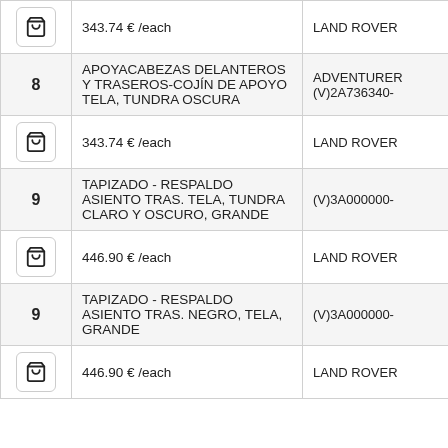| # | Description | Compatibility |  |
| --- | --- | --- | --- |
| [cart] | 343.74 € /each | LAND ROVER |  |
| 8 | APOYACABEZAS DELANTEROS Y TRASEROS-COJÍN DE APOYO TELA, TUNDRA OSCURA | ADVENTURER (V)2A736340- |  |
| [cart] | 343.74 € /each | LAND ROVER |  |
| 9 | TAPIZADO - RESPALDO ASIENTO TRAS. TELA, TUNDRA CLARO Y OSCURO, GRANDE | (V)3A000000- |  |
| [cart] | 446.90 € /each | LAND ROVER |  |
| 9 | TAPIZADO - RESPALDO ASIENTO TRAS. NEGRO, TELA, GRANDE | (V)3A000000- |  |
| [cart] | 446.90 € /each | LAND ROVER |  |